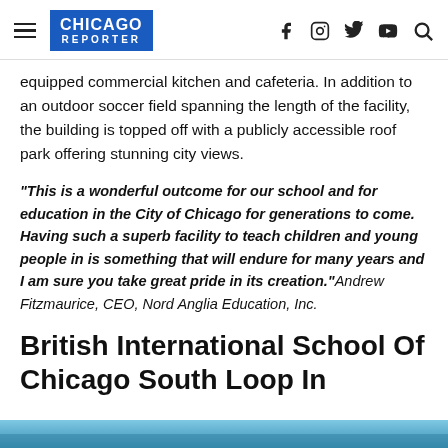CHICAGO REPORTER
equipped commercial kitchen and cafeteria. In addition to an outdoor soccer field spanning the length of the facility, the building is topped off with a publicly accessible roof park offering stunning city views.
“This is a wonderful outcome for our school and for education in the City of Chicago for generations to come. Having such a superb facility to teach children and young people in is something that will endure for many years and I am sure you take great pride in its creation.” Andrew Fitzmaurice, CEO, Nord Anglia Education, Inc.
British International School Of Chicago South Loop In
[Figure (photo): Bottom strip of a photo, likely showing the school building exterior against blue sky]